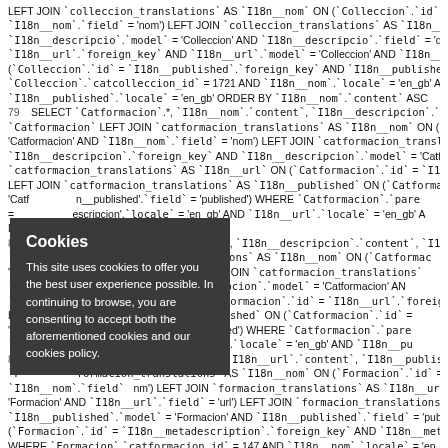LEFT JOIN `colleccion_translations` AS `I18n__nom` ON (`Colleccion`.`id` = `I18n__nom`.`foreign_key` AND `I18n__nom`.`field` = 'nom') LEFT JOIN `colleccion_translations` AS `I18n__descripcio` ON (`I18n__descripcio`.`model` = 'Colleccion' AND `I18n__descripcio`.`field` = 'descripcio') LEFT JOIN ... `I18n__url`.`foreign_key` AND `I18n__url`.`model` = 'Colleccion' AND `I18n__url`.`field` = ... (`Colleccion`.`id` = `I18n__published`.`foreign_key` AND `I18n__published`.`model` = 'Colleccion'. `Colleccion`.`catcolleccion_id` = 1721 AND `I18n__nom`.`locale` = 'en_gb' AND `I18n__descripcio`.`locale` = 'en_gb' ORDER BY `I18n__nom`.`content` ASC
79 SELECT `Catformacion`.*, `I18n__nom`.`content`, `I18n__descripcion`.`content`, `I18n__` ... `Catformacion` LEFT JOIN `catformacion_translations` AS `I18n__nom` ON (`Catformacion`.`id` = ... 'Catformacion' AND `I18n__nom`.`field` = 'nom') LEFT JOIN `catformacion_translations` ... `I18n__descripcion`.`foreign_key` AND `I18n__descripcion`.`model` = 'Catformacion' AND ... `catformacion_translations` AS `I18n__url` ON (`Catformacion`.`id` = `I18n__url`.`foreign_key` ... LEFT JOIN `catformacion_translations` AS `I18n__published` ON (`Catformacion`.`id` = ... 'Catformacion' AND `I18n__published`.`field` = 'published') WHERE `Catformacion`.`parent_id` = ... `I18n__descripcion`.`locale` = 'en_gb' AND `I18n__url`.`locale` = 'en_gb' AND ...
80 SELECT ... `I18n__nom`.`content`, `I18n__descripcion`.`content`, `I18n__` ... LEFT JOIN `catformacion_translations` AS `I18n__nom` ON (`Catformacion`.`id` = ... `I18n__nom`.`field` = 'nom') LEFT JOIN `catformacion_translations` ... `foreign_key` AND `I18n__descripcion`.`model` = 'Catformacion' AND ... `catformacion_translations` AS `I18n__url` ON (`Catformacion`.`id` = `I18n__url`.`foreign_key` ... LEFT JOIN `catformacion_translations` AS `I18n__published` ON (`Catformacion`.`id` = ... `I18n__published`.`field` = 'published') WHERE `Catformacion`.`parent_id` = ... `locale` = 'en_gb' AND `I18n__url`.`locale` = 'en_gb' AND `I18n__published`...
81 SELECT ... `I18n__nom`.`content`, `I18n__url`.`content`, `I18n__published`.`content` ... `formacion_translations` AS `I18n__nom` ON (`Formacion`.`id` = ... `I18n__nom`.`field` = 'nom') LEFT JOIN `formacion_translations` AS `I18n__url` ON (`Formacion`.`id` = ... 'Formacion' AND `I18n__url`.`field` = 'url') LEFT JOIN `formacion_translations` AS `I18n__` ... `I18n__published`.`model` = 'Formacion' AND `I18n__published`.`field` = 'published') LEFT JOIN ... (`Formacion`.`id` = `I18n__metadescription`.`foreign_key` AND `I18n__metadescription`... WHERE `Formacion`.`catformacion_id` = 147 AND `I18n__nom`.`locale` = 'en_gb' AND ...
[Figure (screenshot): Cookie consent overlay popup with dark grey background showing title 'Cookies' and text 'This site uses cookies to offer you the best user experience possible. In continuing to browse, you are consenting to accept both the aforementioned cookies and our cookies policy.']